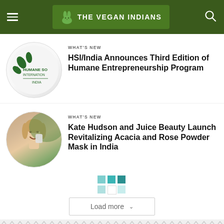The Vegan Indians
[Figure (logo): Humane Society International India circular logo]
WHAT'S NEW
HSI/India Announces Third Edition of Humane Entrepreneurship Program
[Figure (photo): Woman smiling holding a beauty product to her cheek]
WHAT'S NEW
Kate Hudson and Juice Beauty Launch Revitalizing Acacia and Rose Powder Mask in India
Load more